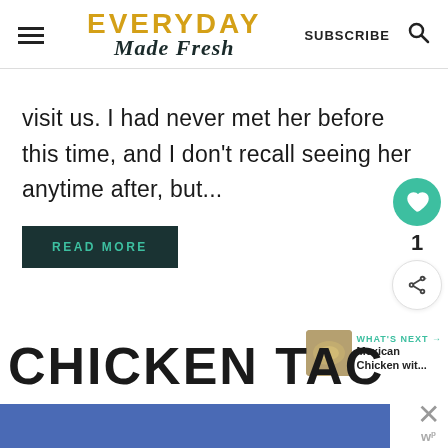EVERYDAY Made Fresh | SUBSCRIBE
visit us. I had never met her before this time, and I don't recall seeing her anytime after, but...
READ MORE
[Figure (other): Heart/like button with teal circle background and count of 1, share button below]
[Figure (other): What's Next section with thumbnail image of Mexican Chicken dish and text 'Mexican Chicken wit...']
CHICKEN TAC...
[Figure (other): Blue advertisement bar at the bottom with close button and wp logo]